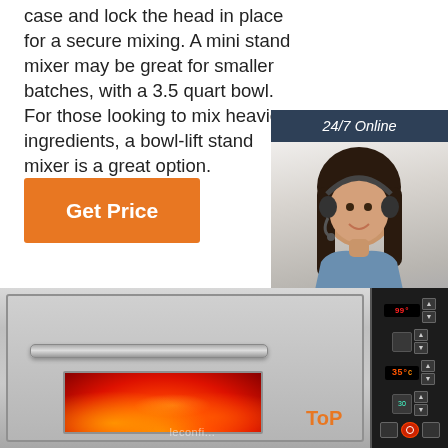case and lock the head in place for a secure mixing. A mini stand mixer may be great for smaller batches, with a 3.5 quart bowl. For those looking to mix heavier ingredients, a bowl-lift stand mixer is a great option.
[Figure (other): Orange 'Get Price' button]
[Figure (other): Chat widget with '24/7 Online' header, photo of woman with headset, 'Click here for free chat!' text, and orange QUOTATION button]
[Figure (photo): Industrial deck oven with stainless steel body, horizontal handle bar, and a window showing flames/fire inside. Control panel on the right side with red LED displays showing temperature readings. 'leconfi' watermark visible. 'ToP' logo in orange.]